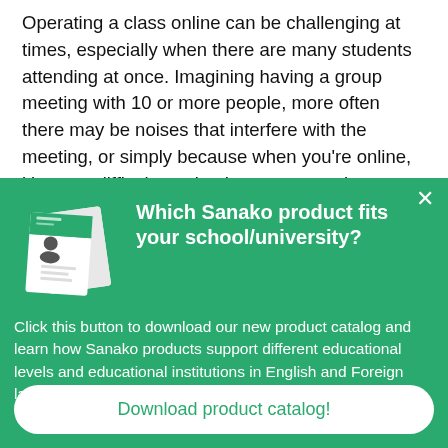Operating a class online can be challenging at times, especially when there are many students attending at once. Imagining having a group meeting with 10 or more people, more often there may be noises that interfere with the meeting, or simply because when you're online, it's more difficult to take the cue as to when one can speak without interrupting others. That is for a normal meeting setting
[Figure (screenshot): A popup overlay with green background. Contains a small image of Sanako product catalog brochures on the left, bold white text heading 'Which Sanako product fits your school/university?' on the right, a close (×) button in the top right, descriptive text about downloading a product catalog, and a white rounded button at the bottom labeled 'Download product catalog!'.]